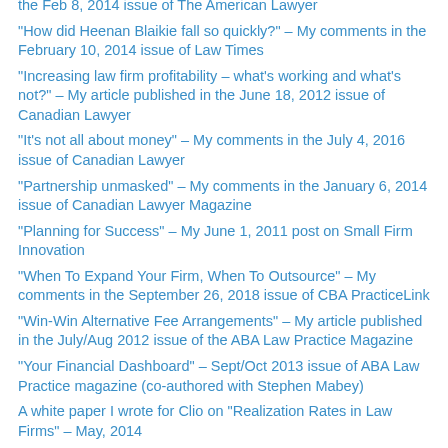the Feb 8, 2014 issue of The American Lawyer
"How did Heenan Blaikie fall so quickly?" – My comments in the February 10, 2014 issue of Law Times
"Increasing law firm profitability – what's working and what's not?" – My article published in the June 18, 2012 issue of Canadian Lawyer
"It's not all about money" – My comments in the July 4, 2016 issue of Canadian Lawyer
"Partnership unmasked" – My comments in the January 6, 2014 issue of Canadian Lawyer Magazine
"Planning for Success" – My June 1, 2011 post on Small Firm Innovation
"When To Expand Your Firm, When To Outsource" – My comments in the September 26, 2018 issue of CBA PracticeLink
"Win-Win Alternative Fee Arrangements" – My article published in the July/Aug 2012 issue of the ABA Law Practice Magazine
"Your Financial Dashboard" – Sept/Oct 2013 issue of ABA Law Practice magazine (co-authored with Stephen Mabey)
A white paper I wrote for Clio on "Realization Rates in Law Firms" – May, 2014
"Canadian Firm Fasken Bolts on Boutique for Second British Columbia